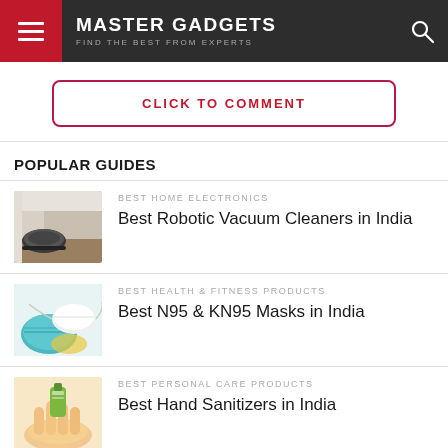MASTER GADGETS — FIND THE BEST FROM EXPERTS
CLICK TO COMMENT
POPULAR GUIDES
[Figure (photo): Robotic vacuum cleaner near a wall]
BEST HOME ELECTRONICS
Best Robotic Vacuum Cleaners in India
[Figure (photo): N95 and KN95 face masks]
BEST HEALTH & FITNESS PRODUCTS
Best N95 & KN95 Masks in India
[Figure (photo): Hand holding small sanitizer bottle]
BEST PERSONAL CARE PRODUCTS
Best Hand Sanitizers in India